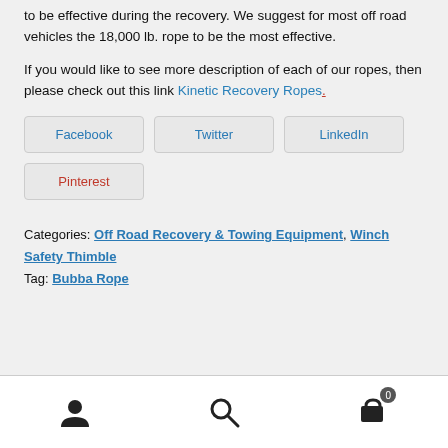to be effective during the recovery. We suggest for most off road vehicles the 18,000 lb. rope to be the most effective.
If you would like to see more description of each of our ropes, then please check out this link Kinetic Recovery Ropes.
[Figure (other): Social share buttons: Facebook, Twitter, LinkedIn, Pinterest]
Categories: Off Road Recovery & Towing Equipment, Winch Safety Thimble
Tag: Bubba Rope
Navigation bar with user, search, and cart (0) icons